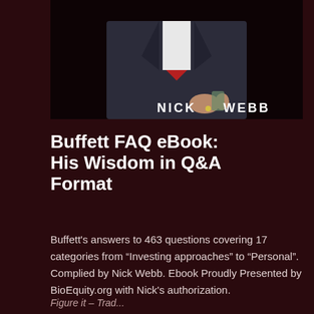[Figure (photo): Book cover photo showing a man in a dark suit with a red tie, holding something. Text 'NICK WEBB' overlaid in white/yellow on the image.]
Buffett FAQ eBook: His Wisdom in Q&A Format
Buffett's answers to 463 questions covering 17 categories from “Investing approaches” to “Personal”. Complied by Nick Webb. Ebook Proudly Presented by BioEquity.org with Nick's authorization.
Figure it – Trad...